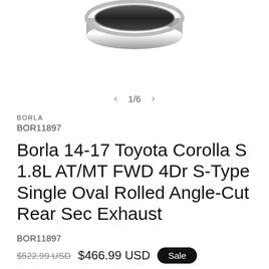[Figure (photo): Chrome oval exhaust tip partially visible at top of page]
1/6
BORLA
BOR11897
Borla 14-17 Toyota Corolla S 1.8L AT/MT FWD 4Dr S-Type Single Oval Rolled Angle-Cut Rear Sec Exhaust
BOR11897
$522.99 USD  $466.99 USD  Sale